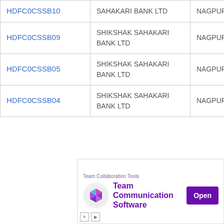| HDFC0CSSB10 | SAHAKARI BANK LTD | NAGPUR |
| HDFC0CSSB09 | SHIKSHAK SAHAKARI BANK LTD | NAGPUR |
| HDFC0CSSB05 | SHIKSHAK SAHAKARI BANK LTD | NAGPUR |
| HDFC0CSSB04 | SHIKSHAK SAHAKARI BANK LTD | NAGPUR |
[Figure (other): Advertisement for Team Communication Software with a purple logo, 'Open' button, and ad label 'Team Collaboration Tools']